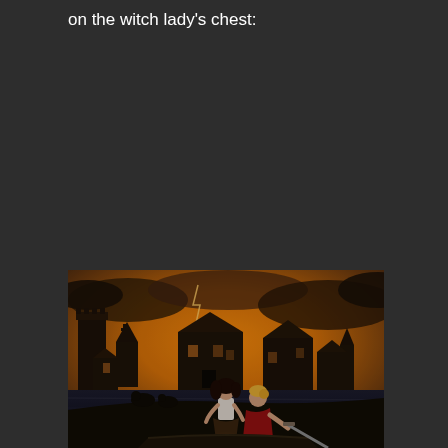on the witch lady's chest:
[Figure (illustration): Fantasy book cover illustration showing a dark village scene with medieval buildings, a glowing orange stormy sky, and two figures in the foreground — a woman in a white blouse and dark skirt, and a man in a red shirt — appearing to be in a boat on flooded water. Dark gothic architecture including towers and spires fills the background.]